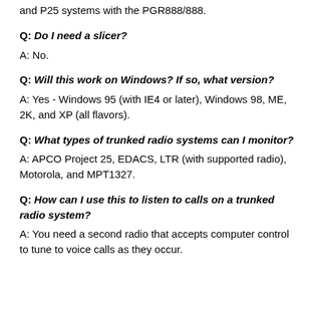and P25 systems with the PGR888/888.
Q: Do I need a slicer?
A: No.
Q: Will this work on Windows? If so, what version?
A: Yes - Windows 95 (with IE4 or later), Windows 98, ME, 2K, and XP (all flavors).
Q: What types of trunked radio systems can I monitor?
A: APCO Project 25, EDACS, LTR (with supported radio), Motorola, and MPT1327.
Q: How can I use this to listen to calls on a trunked radio system?
A: You need a second radio that accepts computer control to tune to voice calls as they occur.